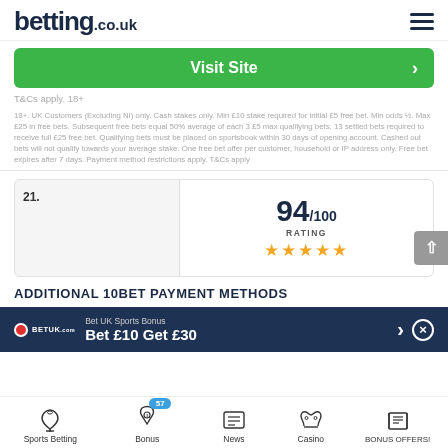betting.co.uk
[Figure (other): Green Visit Site button with right arrow]
T&Cs apply. 18+
18+. UK Customers (Excluding NI) only. Cash stakes only. Min £10 stake required for initial £5 free bet. Min odds ½. Max £25 in free bets. Subsequent free bets equal 50% average of each 3 £5 max qualifying bets. 13 settled bets required to receive full £25 free bet. Qualifying bets must be placed on sportsbook within 30 days of opening account. Cashed out bets will not qualify towards your average stake. One free bet offer per customer, household or IP address only. Free bet expires after 7 days. Payment method restrictions apply. T&Cs apply
[Figure (other): Item 21 card on left (grey placeholder), right side shows rating 94/100, RATING label, and 5 gold stars]
ADDITIONAL 10BET PAYMENT METHODS
[Figure (other): Dark blue promotional banner: BetUK logo, Bet UK Sports Bonus, Bet £10 Get £30, arrow and close button]
Sports Betting | Bonus 57 | News | Casino | BONUS OFFERS!